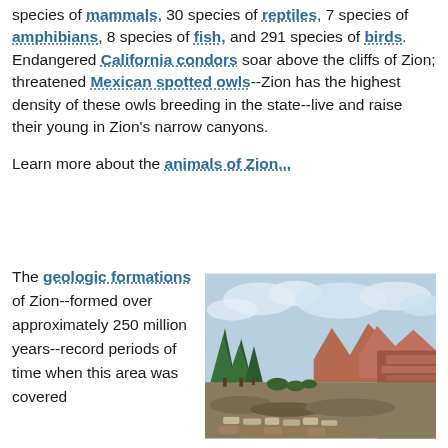species of mammals, 30 species of reptiles, 7 species of amphibians, 8 species of fish, and 291 species of birds. Endangered California condors soar above the cliffs of Zion; threatened Mexican spotted owls--Zion has the highest density of these owls breeding in the state--live and raise their young in Zion's narrow canyons.
Learn more about the animals of Zion...
The geologic formations of Zion--formed over approximately 250 million years--record periods of time when this area was covered
[Figure (photo): Landscape photo of Zion National Park showing red rock formations, green trees, a trail with wooden border logs, cloudy blue sky, and layered canyon walls.]